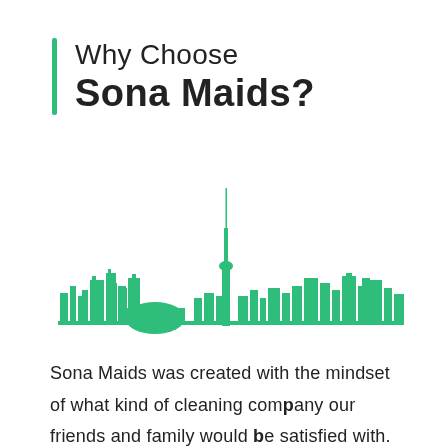Why Choose Sona Maids?
[Figure (illustration): Green silhouette skyline of Toronto featuring the CN Tower prominently in the center, with various buildings on left and right sides.]
Sona Maids was created with the mindset of what kind of cleaning company our friends and family would be satisfied with.